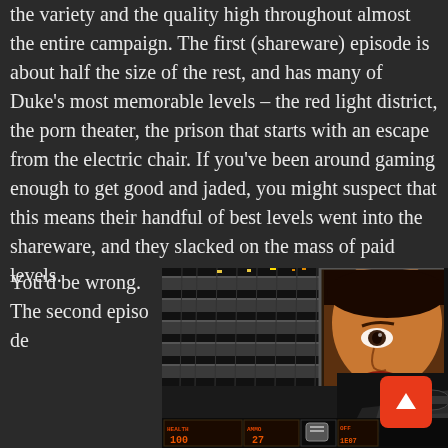the variety and the quality high throughout almost the entire campaign. The first (shareware) episode is about half the size of the rest, and has many of Duke's most memorable levels – the red light district, the porn theater, the prison that starts with an escape from the electric chair. If you've been around gaming enough to get good and jaded, you might suspect that this means their handful of best levels went into the shareware, and they slacked on the mass of paid levels.
You'd be wrong. The second episode
[Figure (screenshot): Screenshot from Duke Nukem 3D showing a multi-story building interior with a large billboard/screen showing a woman's face, and the game HUD visible at the bottom with health 100, ammo 27, and other stats.]